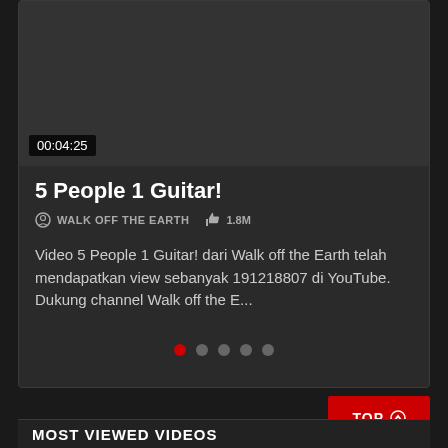[Figure (screenshot): Dark video thumbnail area showing a black/dark gray rectangle representing a video player thumbnail]
00:04:25
5 People 1 Guitar!
WALK OFF THE EARTH   👍 1.8M
Video 5 People 1 Guitar! dari Walk off the Earth telah mendapatkan view sebanyak 191218807 di YouTube. Dukung channel Walk off the E...
● ● ● ● ●
TOP ⊕
MOST VIEWED VIDEOS